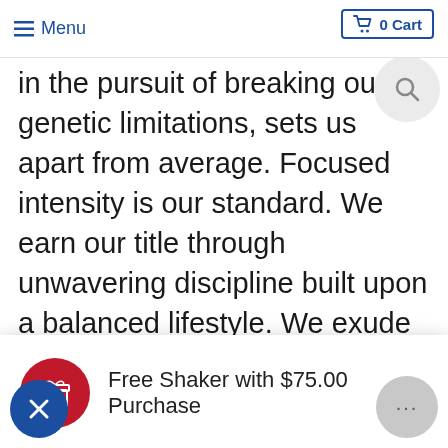≡ Menu  🛒 0 Cart
in the pursuit of breaking our genetic limitations, sets us apart from average. Focused intensity is our standard. We earn our title through unwavering discipline built upon a balanced lifestyle. We exude a humble confidence that serves as inspiration to the global fitness community at large. This
Free Shaker with $75.00 Purchase
What You Can Win?
One (1) female Contestant will receive the